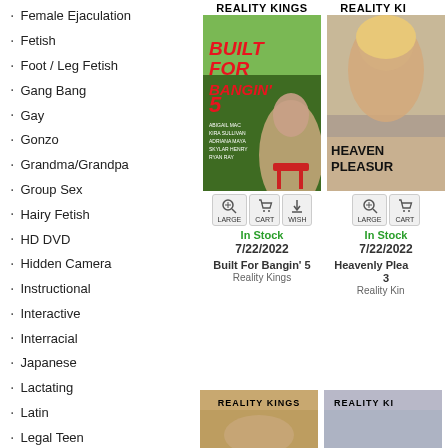Female Ejaculation
Fetish
Foot / Leg Fetish
Gang Bang
Gay
Gonzo
Grandma/Grandpa
Group Sex
Hairy Fetish
HD DVD
Hidden Camera
Instructional
Interactive
Interracial
Japanese
Lactating
Latin
Legal Teen
Lesbian
Massage
Masturbation
Midget
MILF
Oral / Cum Shot
[Figure (screenshot): Product card for 'Built For Bangin 5' by Reality Kings showing cover art, cart/wish buttons, In Stock status, date 7/22/2022]
[Figure (screenshot): Partial product card for 'Heavenly Pleasures 3' by Reality Kings showing cover art (partially cropped), cart buttons, In Stock status, date 7/22/2022]
[Figure (screenshot): Bottom row showing two partially visible Reality Kings product covers]